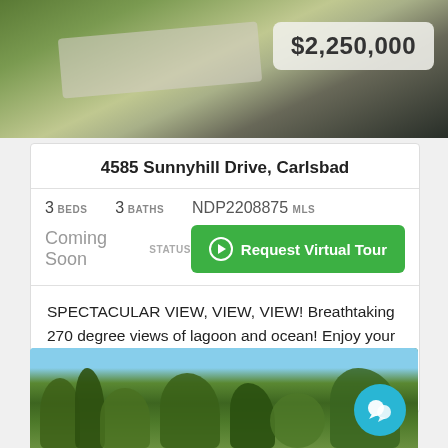[Figure (photo): Aerial/overhead view of property with driveway and landscaping, price badge showing $2,250,000]
4585 Sunnyhill Drive, Carlsbad
3 BEDS   3 BATHS   NDP2208875 MLS
Coming Soon STATUS   Request Virtual Tour
SPECTACULAR VIEW, VIEW, VIEW! Breathtaking 270 degree views of lagoon and ocean! Enjoy your evening outdoor dinner and cocktail overlooking an unobstructed view of the Pa...
[Figure (photo): Exterior photo of property showing trees and landscaping with chat bubble icon]